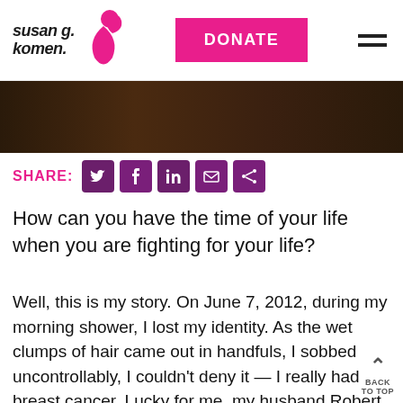[Figure (logo): Susan G. Komen logo with pink ribbon and italic text]
[Figure (other): Pink DONATE button in navigation header]
[Figure (photo): Dark brown/sepia toned photo (partial view, cropped at top)]
SHARE:
[Figure (infographic): Social share icons: Twitter, Facebook, LinkedIn, Email, Share — all in dark pink/purple rounded square buttons]
How can you have the time of your life when you are fighting for your life?
Well, this is my story. On June 7, 2012, during my morning shower, I lost my identity. As the wet clumps of hair came out in handfuls, I sobbed uncontrollably, I couldn't deny it — I really had breast cancer. Lucky for me, my husband Robert rescued me and wisked me away, that fateful morning, to the Huntington Beach pier where we made the decision that this was too big an event to "just get through it". That we never know how long...